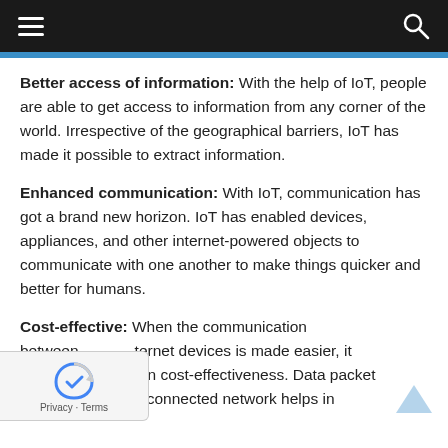Navigation bar with hamburger menu and search icon
Better access of information: With the help of IoT, people are able to get access to information from any corner of the world. Irrespective of the geographical barriers, IoT has made it possible to extract information.
Enhanced communication: With IoT, communication has got a brand new horizon. IoT has enabled devices, appliances, and other internet-powered objects to communicate with one another to make things quicker and better for humans.
Cost-effective: When the communication between internet devices is made easier, it automatically results in cost-effectiveness. Data packet transferred on the connected network helps in